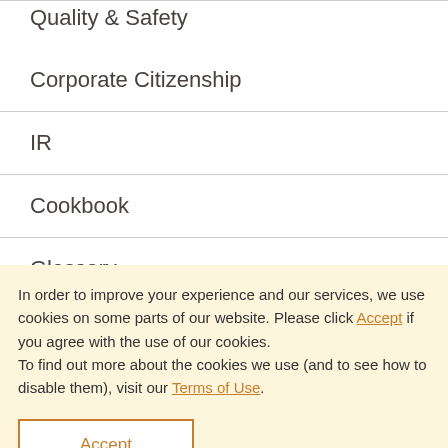Quality & Safety
Corporate Citizenship
IR
Cookbook
Glossary
In order to improve your experience and our services, we use cookies on some parts of our website. Please click Accept if you agree with the use of our cookies.
To find out more about the cookies we use (and to see how to disable them), visit our Terms of Use.
Accept